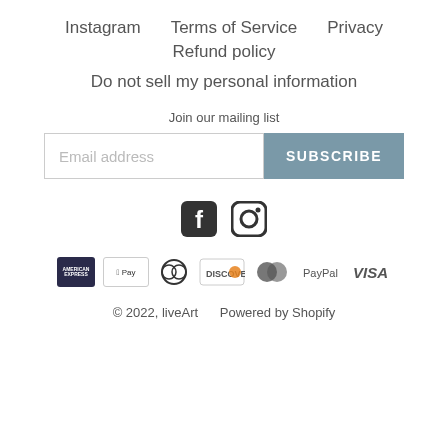Instagram   Terms of Service   Privacy
Refund policy
Do not sell my personal information
Join our mailing list
Email address   SUBSCRIBE
[Figure (logo): Facebook and Instagram social media icons]
[Figure (logo): Payment method icons: American Express, Apple Pay, Diners Club, Discover, Mastercard, PayPal, Visa]
© 2022, liveArt     Powered by Shopify